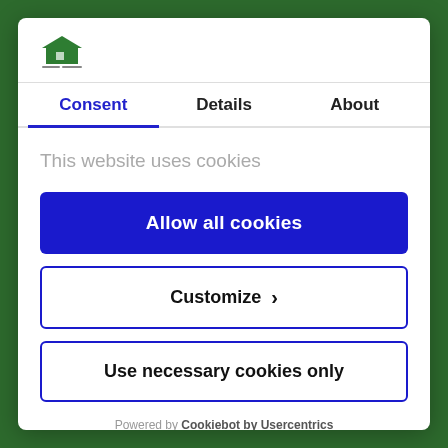[Figure (logo): House/home icon logo with green roof and teal/blue color scheme, small text below]
Consent
Details
About
This website uses cookies
Allow all cookies
Customize ›
Use necessary cookies only
Powered by Cookiebot by Usercentrics